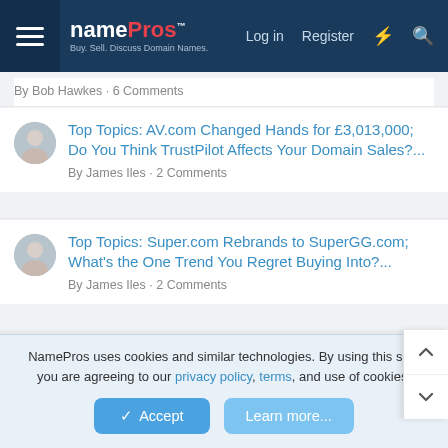namePros — Log in  Register
Top Topics: AV.com Changed Hands for £3,013,000; Do You Think TrustPilot Affects Your Domain Sales?... By James Iles · 2 Comments
Top Topics: Super.com Rebrands to SuperGG.com; What's the One Trend You Regret Buying Into?... By James Iles · 2 Comments
< NamePros Blog
[Figure (screenshot): biix. buy. sell. grow. — Get More! Higher Conversions Lower Fees advertisement banner]
NamePros uses cookies and similar technologies. By using this site, you are agreeing to our privacy policy, terms, and use of cookies.